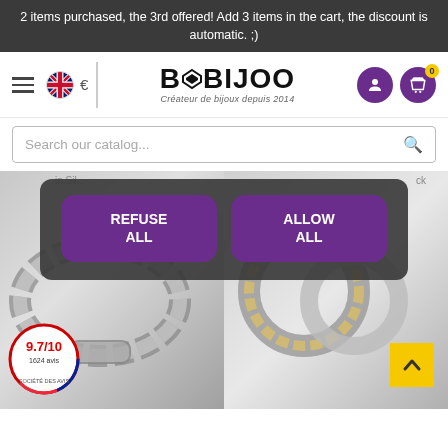2 items purchased, the 3rd offered! Add 3 items in the cart, the discount is automatic. ;)
[Figure (logo): Bobijoo logo with diamond icon and subtitle 'Créateur de bijoux depuis 2014', navigation icons including UK flag, euro sign, user icon, and shopping cart with badge '0']
Search our catalog...
[Figure (screenshot): Cookie consent overlay with 'REFUSE ALL' and 'ALLOW ALL' buttons in purple, over a product page showing a silver Cuban link bracelet on the left and masonic rings on the right. A rating badge shows 9.7/10 with 1624 avis. A yellow scroll-to-top arrow button is visible.]